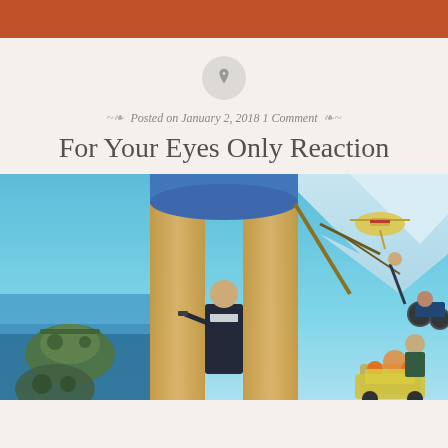[Figure (illustration): Pin/thumbtack icon inside a gray circle]
Posted on January 2, 2018 1 Comment
For Your Eyes Only Reaction
[Figure (photo): Movie poster for 'For Your Eyes Only' (James Bond film) showing a woman in a blue swimsuit holding a crossbow with Roger Moore as Bond standing between her legs, with action scenes in the background including a helicopter, underwater scenes, motorcycles, and car chase]